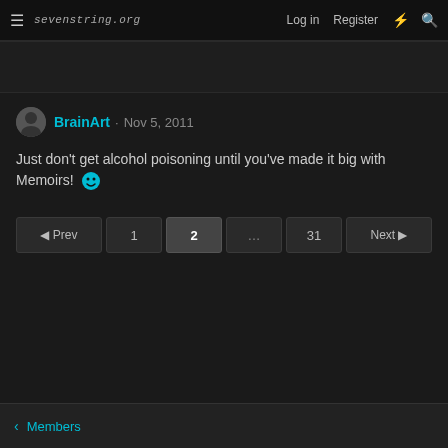sevenstring.org — Log in  Register
BrainArt · Nov 5, 2011
Just don't get alcohol poisoning until you've made it big with Memoirs! 😁
◄ Prev  1  2  ...  31  Next ►
< Members